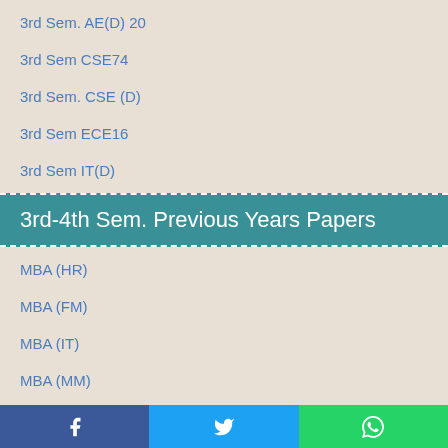3rd Sem. AE(D) 20
3rd Sem CSE74
3rd Sem. CSE (D)
3rd Sem ECE16
3rd Sem IT(D)
3rd-4th Sem. Previous Years Papers
MBA (HR)
MBA (FM)
MBA (IT)
MBA (MM)
MBA (OP)
4th Sem. Previous Years Papers